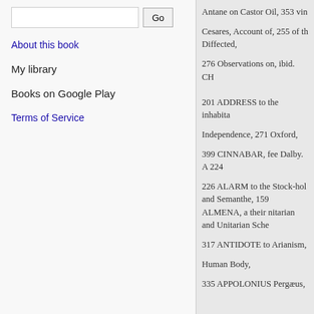About this book
My library
Books on Google Play
Terms of Service
Antane on Castor Oil, 353 vin
Cesares, Account of, 255 of th Diffected,
276 Observations on, ibid. CH
201 ADDRESS to the inhabita
Independence, 271 Oxford,
399 CINNABAR, fee Dalby. A 224
226 ALARM to the Stock-hol and Semanthe, 159 ALMENA, a their nitarian and Unitarian Sche
317 ANTIDOTE to Arianism,
Human Body,
335 APPOLONIUS Pergæus,